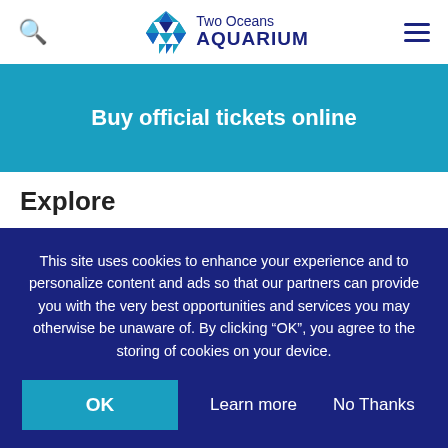[Figure (logo): Two Oceans Aquarium logo with fish icon made of blue triangles and text 'Two Oceans AQUARIUM']
[Figure (infographic): Blue banner with text 'Buy official tickets online']
Explore
Plan Your Trip
Special Offers
This site uses cookies to enhance your experience and to personalize content and ads so that our partners can provide you with the very best opportunities and services you may otherwise be unaware of. By clicking "OK", you agree to the storing of cookies on your device.
OK
Learn more
No Thanks